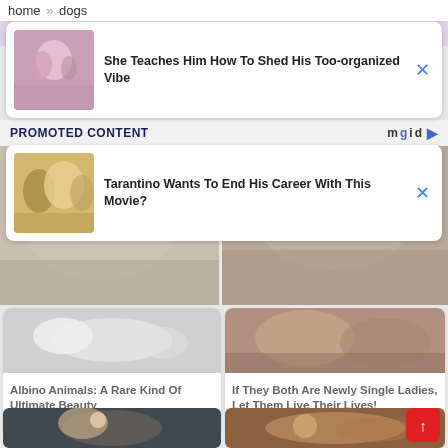home » dogs
[Figure (screenshot): Ad card: image of couple with text 'She Teaches Him How To Shed His Too-organized Vibe' and close button]
PROMOTED CONTENT
[Figure (screenshot): Ad card: image of movie cast with text 'Tarantino Wants To End His Career With This Movie?' and close button]
[Figure (photo): Content card showing albino animals with title 'Albino Animals: A Rare Kind Of Ultimate Beauty', source: Brainberries]
[Figure (photo): Content card showing women with title 'If They Both Are Newly Single Ladies, Let Them Live Their Lives!', source: Herbeauty]
[Figure (photo): Bottom row: photo of young Asian woman]
[Figure (photo): Bottom row: close-up photo of human eye]